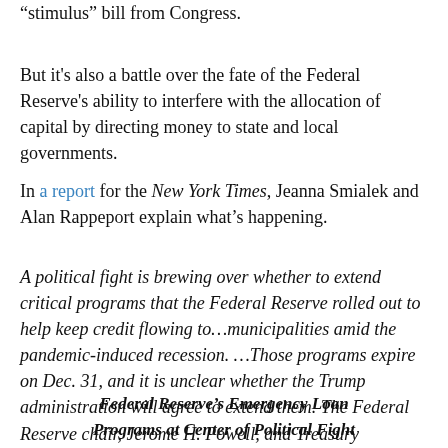“stimulus” bill from Congress.
But it's also a battle over the fate of the Federal Reserve's ability to interfere with the allocation of capital by directing money to state and local governments.
In a report for the New York Times, Jeanna Smialek and Alan Rappeport explain what’s happening.
A political fight is brewing over whether to extend critical programs that the Federal Reserve rolled out to help keep credit flowing to…municipalities amid the pandemic-induced recession. …Those programs expire on Dec. 31, and it is unclear whether the Trump administration will agree to extend them. The Federal Reserve chair, Jerome H. Powell, and Treasury secretary, Steven Mnuchin,
Federal Reserve’s Emergency Loan Programs at Center of Political Fight